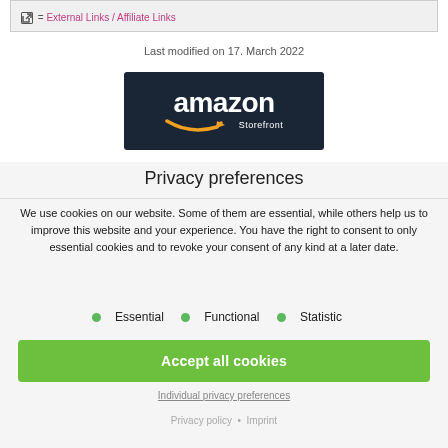= External Links / Affiliate Links
Last modified on 17. March 2022
[Figure (logo): Amazon Storefront logo on dark navy background with orange smile arrow]
Privacy preferences
We use cookies on our website. Some of them are essential, while others help us to improve this website and your experience. You have the right to consent to only essential cookies and to revoke your consent of any kind at a later date.
Essential
Functional
Statistic
Accept all cookies
Individual privacy preferences
Privacy policy • Imprint